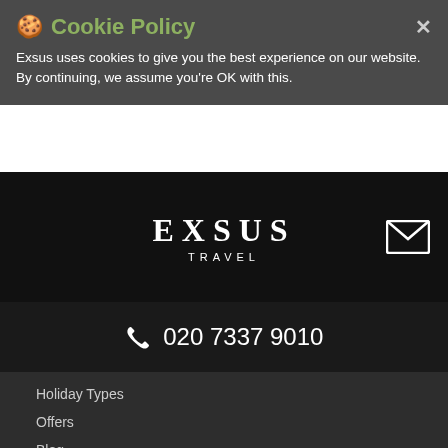🍪 Cookie Policy
Exsus uses cookies to give you the best experience on our website. By continuing, we assume you're OK with this.
[Figure (logo): EXSUS TRAVEL logo in white text on black background]
020 7337 9010
Holiday Types
Offers
Blog
When to go
EXSUS SITES
UK
Asia
India